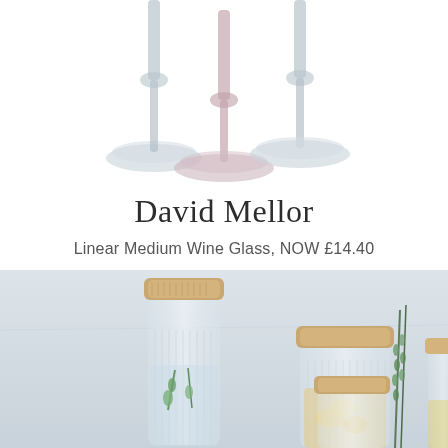[Figure (photo): Three glass wine glasses with circular bases photographed from below/mid level against a white background. The center glass has a pinkish tint, the outer two are clear/smoky grey.]
David Mellor
Linear Medium Wine Glass, NOW £14.40
[Figure (photo): Product lifestyle photo showing glass storage jars and a tall carafe/water bottle with wooden/cork lids on a light grey background. The tall carafe contains water with herb sprigs, smaller jars contain dried goods, and there are rosemary sprigs and a small jar of oil visible.]